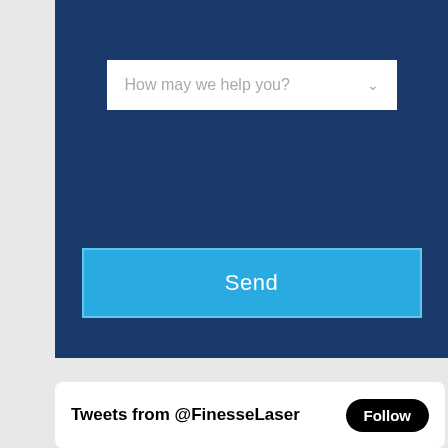Email
How may we help you?
Send
Tweets from @FinesseLaser
Follow